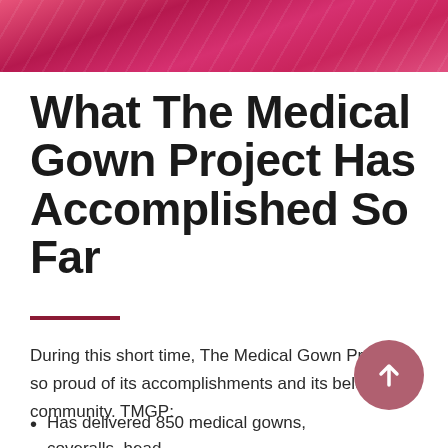[Figure (photo): Close-up photo of pink/red fabric, likely a medical gown material]
What The Medical Gown Project Has Accomplished So Far
During this short time, The Medical Gown Project is so proud of its accomplishments and its beloved community. TMGP:
Has delivered 850 medical gowns, coveralls, head